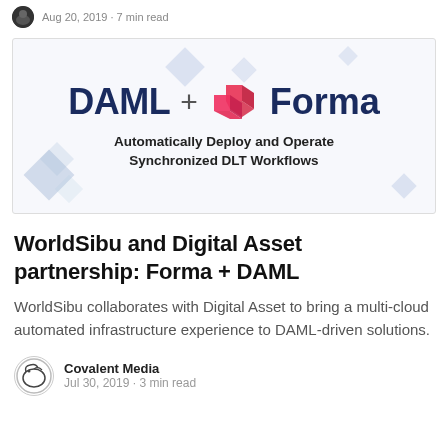Aug 20, 2019 · 7 min read
[Figure (illustration): Banner image showing DAML + Forma logo with text 'Automatically Deploy and Operate Synchronized DLT Workflows' on a light background with decorative blue diamond shapes]
WorldSibu and Digital Asset partnership: Forma + DAML
WorldSibu collaborates with Digital Asset to bring a multi-cloud automated infrastructure experience to DAML-driven solutions.
Covalent Media
Jul 30, 2019 · 3 min read